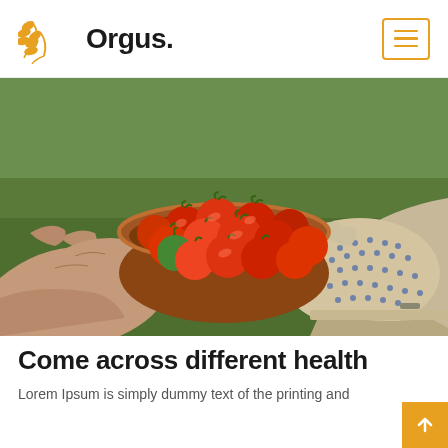Orgus.
[Figure (photo): Hands holding a terracotta bowl filled with fresh red cherry tomatoes, one green tomato visible; gardening gloves worn on one hand; green grass background]
Come across different health
Lorem Ipsum is simply dummy text of the printing and